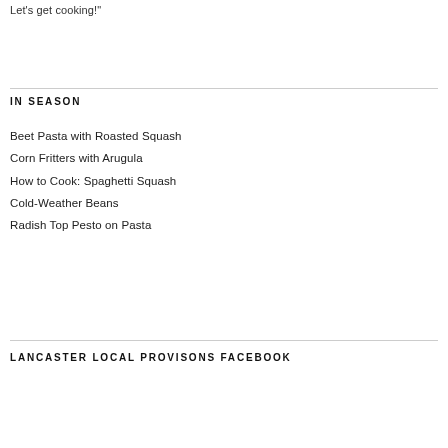Let's get cooking!"
IN SEASON
Beet Pasta with Roasted Squash
Corn Fritters with Arugula
How to Cook: Spaghetti Squash
Cold-Weather Beans
Radish Top Pesto on Pasta
LANCASTER LOCAL PROVISONS FACEBOOK